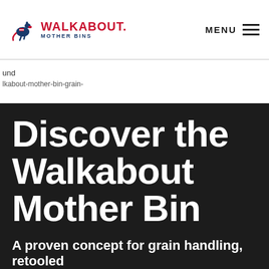[Figure (logo): Walkabout Mother Bins logo with kangaroo icon and red/blue text]
WALKABOUT MOTHER BINS — MENU
und
lkabout-mother-bin-grain-
Discover the Walkabout Mother Bin
A proven concept for grain handling, retooled